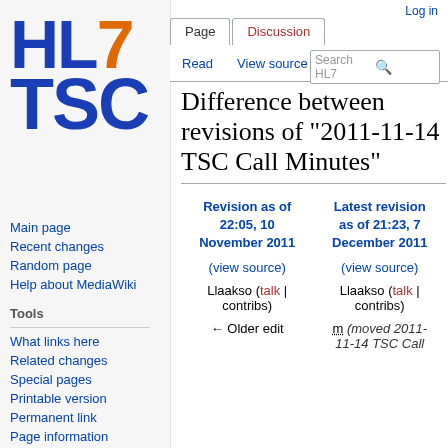Log in
[Figure (logo): HL7 TSC wiki logo with 'HL7' in blue/orange and 'TSC' in blue bold text]
Main page
Recent changes
Random page
Help about MediaWiki
Tools
What links here
Related changes
Special pages
Printable version
Permanent link
Page information
Difference between revisions of "2011-11-14 TSC Call Minutes"
| Revision as of 22:05, 10 November 2011 | Latest revision as of 21:23, 7 December 2011 |
| --- | --- |
| (view source) | (view source) |
| Llaakso (talk | contribs) | Llaakso (talk | contribs) |
| ← Older edit | m (moved 2011-11-14 TSC Call |